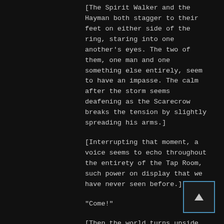[The Spirit Walker and the Hayman both stagger to their feet on either side of the ring, staring into one another’s eyes. The two of them, one man and one something else entirely, seem to have an impasse. The calm after the storm seems deafening as the Scarecrow breaks the tension by slightly spreading his arms.]
[Interrupting that moment, a voice seems to echo throughout the entirety of the Tap Room, such power on display that we have never seen before.]
“Come!”
[Then the world turns upside down.]
[Neither combatant is bothered as they both find themselves back in the barren valley. The
[Figure (other): A small scroll-up button with a triangle/arrow pointing up, outlined in blue, on dark background]